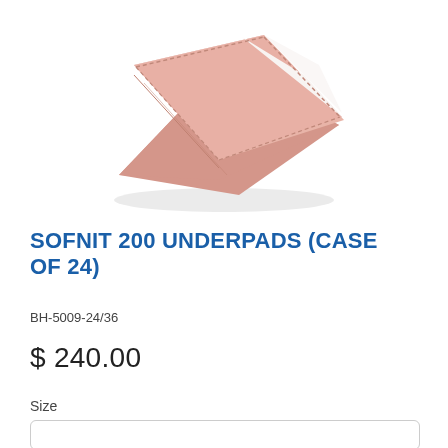[Figure (photo): Folded pink and white reusable underpad/chux pad, photographed on white background showing pink fabric exterior and white top surface]
SOFNIT 200 UNDERPADS (CASE OF 24)
BH-5009-24/36
$ 240.00
Size